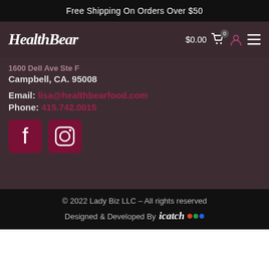Free Shipping On Orders Over $50
[Figure (logo): HealthBear logo with cart icon showing $0.00, user icon, and hamburger menu]
1600 Dell Ave Ste F
Campbell, CA. 95008
Email: lisa@healthbearfood.com
Phone: 415.742.0015
[Figure (illustration): Facebook and Instagram social media icons in dark red/maroon color]
© 2022 Lady Biz LLC – All rights reserved
Designed & Developed By icatch